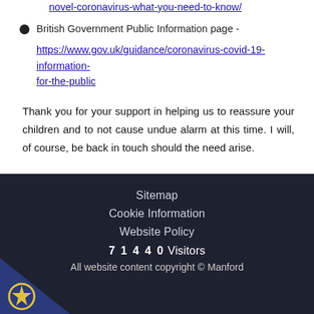novel-coronavirus-what-you-need-to-know/
British Government Public Information page - https://www.gov.uk/guidance/coronavirus-covid-19-information-for-the-public
Thank you for your support in helping us to reassure your children and to not cause undue alarm at this time. I will, of course, be back in touch should the need arise.
Sitemap
Cookie Information
Website Policy
71440 Visitors
All website content copyright © Manford